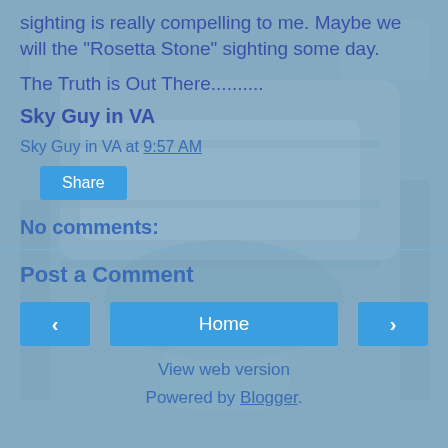sighting is really compelling to me. Maybe we will the "Rosetta Stone" sighting some day.
The Truth is Out There..........
Sky Guy in VA
Sky Guy in VA at 9:57 AM
Share
No comments:
Post a Comment
Home
View web version
Powered by Blogger.